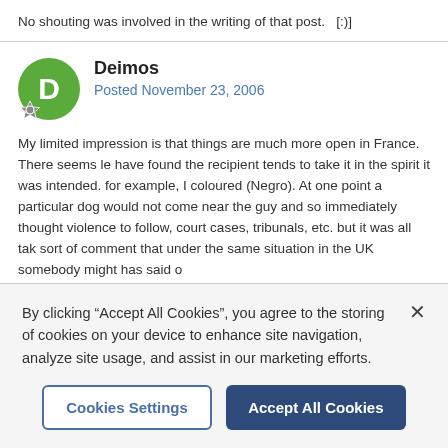No shouting was involved in the writing of that post.   [:)]
Deimos
Posted November 23, 2006
My limited impression is that things are much more open in France. There seems le have found the recipient tends to take it in the spirit it was intended. for example, I coloured (Negro). At one point a particular dog would not come near the guy and so immediately thought violence to follow, court cases, tribunals, etc. but it was all tak sort of comment that under the same situation in the UK somebody might has said o
By clicking “Accept All Cookies”, you agree to the storing of cookies on your device to enhance site navigation, analyze site usage, and assist in our marketing efforts.